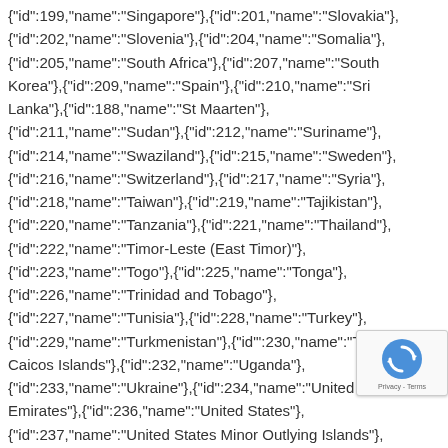{"id":199,"name":"Singapore"},{"id":201,"name":"Slovakia"},{"id":202,"name":"Slovenia"},{"id":204,"name":"Somalia"},{"id":205,"name":"South Africa"},{"id":207,"name":"South Korea"},{"id":209,"name":"Spain"},{"id":210,"name":"Sri Lanka"},{"id":188,"name":"St Maarten"},{"id":211,"name":"Sudan"},{"id":212,"name":"Suriname"},{"id":214,"name":"Swaziland"},{"id":215,"name":"Sweden"},{"id":216,"name":"Switzerland"},{"id":217,"name":"Syria"},{"id":218,"name":"Taiwan"},{"id":219,"name":"Tajikistan"},{"id":220,"name":"Tanzania"},{"id":221,"name":"Thailand"},{"id":222,"name":"Timor-Leste (East Timor)"},{"id":223,"name":"Togo"},{"id":225,"name":"Tonga"},{"id":226,"name":"Trinidad and Tobago"},{"id":227,"name":"Tunisia"},{"id":228,"name":"Turkey"},{"id":229,"name":"Turkmenistan"},{"id":230,"name":"Turks and Caicos Islands"},{"id":232,"name":"Uganda"},{"id":233,"name":"Ukraine"},{"id":234,"name":"United Arab Emirates"},{"id":236,"name":"United States"},{"id":237,"name":"United States Minor Outlying Islands"},{"id":238,"name":"Uruguay"},{"id":239,"name":"Uzbekistan"},{"id":240,"name":"Vanuatu"},{"id":242,"name":"Venezuela"},{"id":243,"name":"Vietnam"},{"id":244,"name":"Virgin Islands
[Figure (other): reCAPTCHA badge widget with rotating arrows icon and Privacy - Terms text]